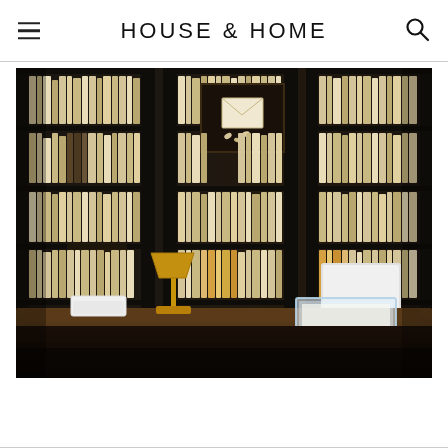HOUSE & HOME
[Figure (photo): A dark, sophisticated home library/office featuring floor-to-ceiling dark wood bookshelves filled with books, a large dark wood desk with white drawers, a gold/brass desk lamp, white chair, acrylic tray on desk, and a framed artwork of an envelope on the back wall.]